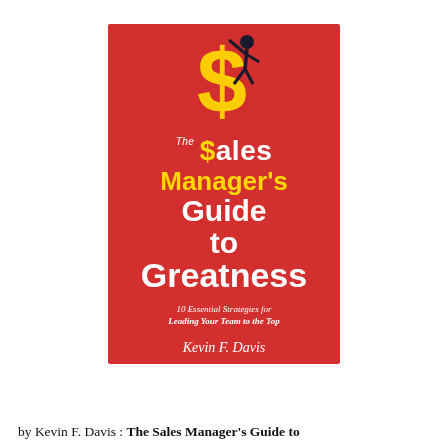[Figure (illustration): Book cover for 'The Sales Manager's Guide to Greatness' by Kevin F. Davis. Red background with a stick figure climbing a large yellow dollar sign. Title text in white and yellow.]
by Kevin F. Davis : The Sales Manager's Guide to